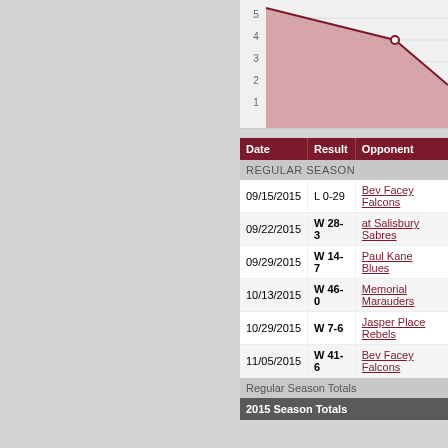[Figure (area-chart): Partial area chart showing values 1-5 on y-axis, with a shaded pink/maroon area descending from top-left to right]
| Date | Result | Opponent |
| --- | --- | --- |
| REGULAR SEASON |  |  |
| 09/15/2015 | L 0-29 | Bev Facey Falcons |
| 09/22/2015 | W 28-3 | at Salisbury Sabres |
| 09/29/2015 | W 14-7 | Paul Kane Blues |
| 10/13/2015 | W 46-0 | Memorial Marauders |
| 10/29/2015 | W 7-6 | Jasper Place Rebels |
| 11/05/2015 | W 41-6 | Bev Facey Falcons |
| Regular Season Totals |  |  |
| 2015 Season Totals |  |  |
Punt Returning Stats
Timeline